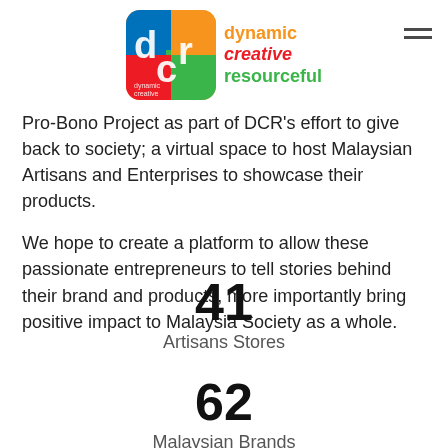[Figure (logo): DCR logo — colorful square icon with 'DCR' letters and text 'dynamic creative resourceful' to the right]
Pro-Bono Project as part of DCR's effort to give back to society; a virtual space to host Malaysian Artisans and Enterprises to showcase their products.
We hope to create a platform to allow these passionate entrepreneurs to tell stories behind their brand and products, more importantly bring positive impact to Malaysia Society as a whole.
41
Artisans Stores
62
Malaysian Brands